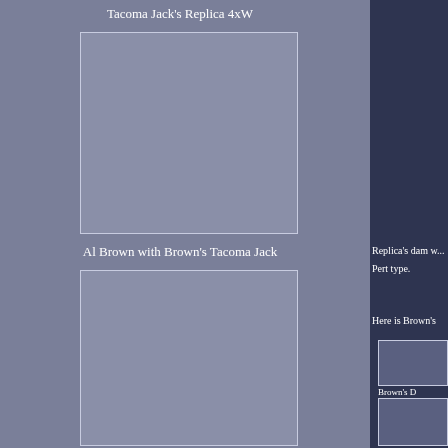Tacoma Jack's Replica 4xW
[Figure (photo): Photo placeholder of Tacoma Jack's Replica 4xW]
Al Brown with Brown's Tacoma Jack
[Figure (photo): Photo placeholder of Al Brown with Brown's Tacoma Jack]
Replica's dam w... Pert type.
Here is Brown's
[Figure (photo): Brown's D photo top]
[Figure (photo): Brown's D photo bottom]